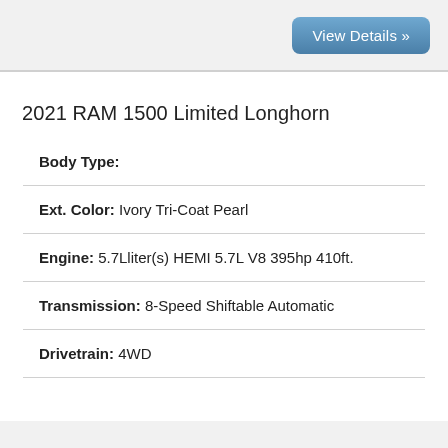View Details »
2021 RAM 1500 Limited Longhorn
| Body Type: |  |
| Ext. Color: | Ivory Tri-Coat Pearl |
| Engine: | 5.7Lliter(s) HEMI 5.7L V8 395hp 410ft. |
| Transmission: | 8-Speed Shiftable Automatic |
| Drivetrain: | 4WD |